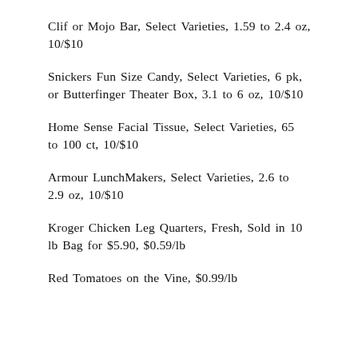Clif or Mojo Bar, Select Varieties, 1.59 to 2.4 oz, 10/$10
Snickers Fun Size Candy, Select Varieties, 6 pk, or Butterfinger Theater Box, 3.1 to 6 oz, 10/$10
Home Sense Facial Tissue, Select Varieties, 65 to 100 ct, 10/$10
Armour LunchMakers, Select Varieties, 2.6 to 2.9 oz, 10/$10
Kroger Chicken Leg Quarters, Fresh, Sold in 10 lb Bag for $5.90, $0.59/lb
Red Tomatoes on the Vine, $0.99/lb